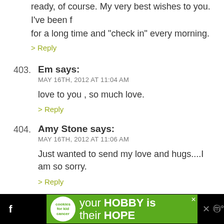ready, of course. My very best wishes to you. I've been following for a long time and “check in” every morning.
> Reply
403. Em says: MAY 16TH, 2012 AT 11:04 AM
love to you , so much love.
> Reply
404. Amy Stone says: MAY 16TH, 2012 AT 11:06 AM
Just wanted to send my love and hugs....I am so sorry.
> Reply
405. Kim says: MAY 16TH, 2012 AT 11:08 AM
No words. Only tears. You are loved.
> Reply
[Figure (screenshot): Advertisement banner at the bottom: cookies for kid cancer logo, text 'your HOBBY is their HOPE' on green background, with social media icons]